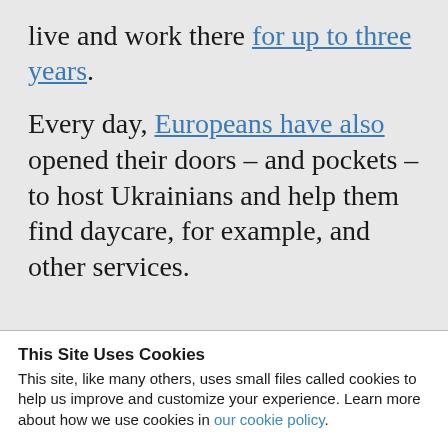live and work there for up to three years.
Every day, Europeans have also opened their doors – and pockets – to host Ukrainians and help them find daycare, for example, and other services.
This Site Uses Cookies
This site, like many others, uses small files called cookies to help us improve and customize your experience. Learn more about how we use cookies in our cookie policy.
Learn more about cookies    OK